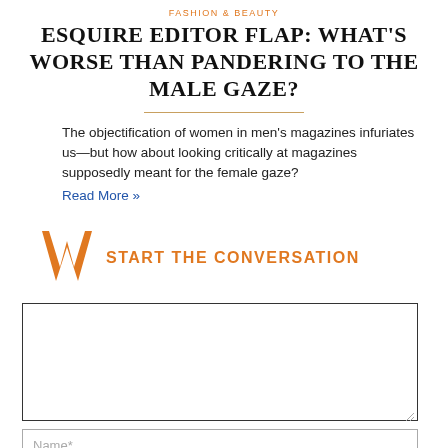FASHION & BEAUTY
ESQUIRE EDITOR FLAP: WHAT'S WORSE THAN PANDERING TO THE MALE GAZE?
The objectification of women in men's magazines infuriates us—but how about looking critically at magazines supposedly meant for the female gaze?
Read More »
START THE CONVERSATION
Name*